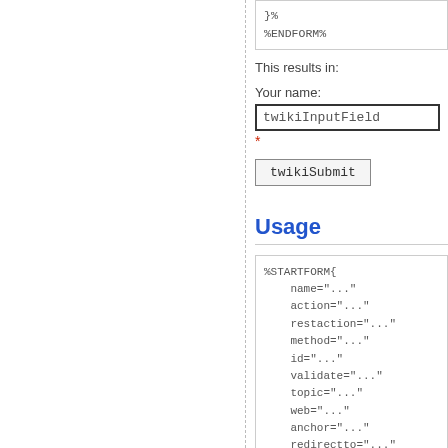[Figure (screenshot): Code box showing '}%' and '%ENDFORM%' in monospace gray text on white background with border]
This results in:
Your name:
[Figure (screenshot): Input field labeled twikiInputField with thick border]
*
[Figure (screenshot): Submit button labeled twikiSubmit]
Usage
[Figure (screenshot): Code box showing %STARTFORM{ with name, action, restaction, method, id, validate, topic, web, anchor, redirectto, formcssclass, elementcssclass parameters]